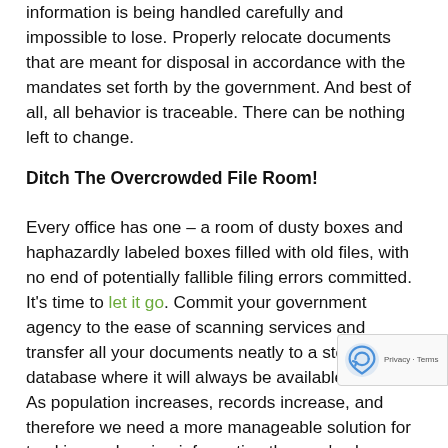information is being handled carefully and impossible to lose. Properly relocate documents that are meant for disposal in accordance with the mandates set forth by the government. And best of all, all behavior is traceable. There can be nothing left to change.
Ditch The Overcrowded File Room!
Every office has one – a room of dusty boxes and haphazardly labeled boxes filled with old files, with no end of potentially fallible filing errors committed. It's time to let it go. Commit your government agency to the ease of scanning services and transfer all your documents neatly to a storage database where it will always be available to you. As population increases, records increase, and therefore we need a more manageable solution for tracking and saving information than we've been using. It's less exp[ensive] than having physical copies, and it sets up your [agency to be prepared for the next big change—the]